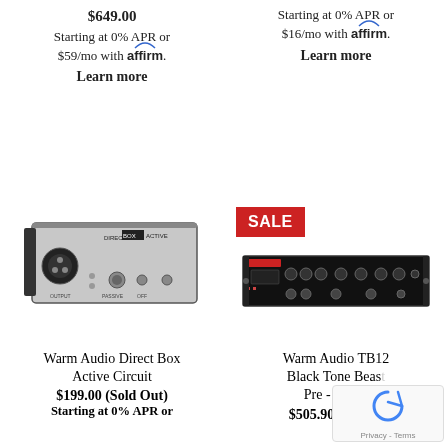$649.00
Starting at 0% APR or $59/mo with affirm.
Learn more
Starting at 0% APR or $16/mo with affirm.
Learn more
[Figure (photo): Warm Audio Direct Box Active Circuit - silver/gray front panel with XLR connector, knobs and switches]
[Figure (photo): Warm Audio TB12 Black Tone Beast Pre rack unit - black 1U rack-mount preamp with multiple controls]
Warm Audio Direct Box Active Circuit
$199.00 (Sold Out)
Starting at 0% APR or
Warm Audio TB12 Black Tone Beast Pre - Demo
$505.90 $649.00